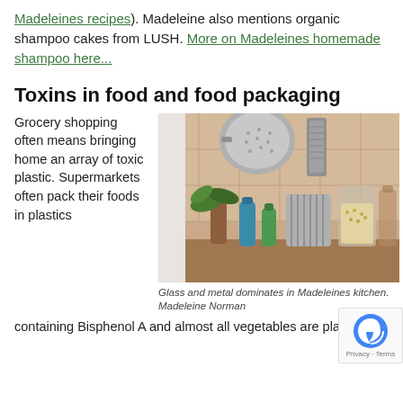Madeleines recipes). Madeleine also mentions organic shampoo cakes from LUSH. More on Madeleines homemade shampoo here...
Toxins in food and food packaging
Grocery shopping often means bringing home an array of toxic plastic. Supermarkets often pack their foods in plastics
[Figure (photo): Photo of a kitchen counter with glass jars containing grains, colorful metal water bottles, a plant, and metal kitchen tools (colander, grater) hanging on a tiled backsplash.]
Glass and metal dominates in Madeleines kitchen. Madeleine Norman
containing Bisphenol A and almost all vegetables are placed in